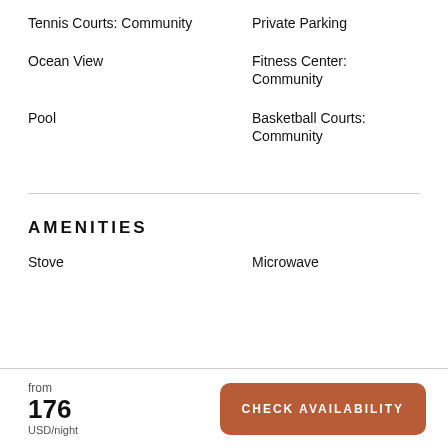Tennis Courts: Community
Private Parking
Ocean View
Fitness Center: Community
Pool
Basketball Courts: Community
AMENITIES
Stove
Microwave
from
176
USD/night
CHECK AVAILABILITY